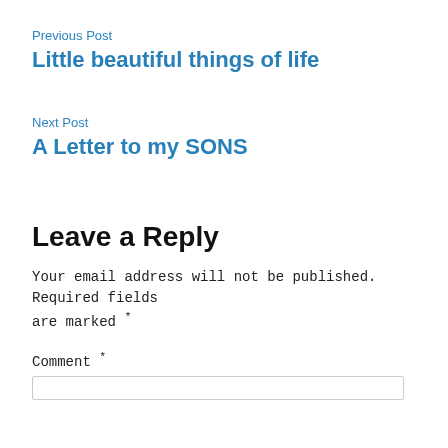Previous Post
Little beautiful things of life
Next Post
A Letter to my SONS
Leave a Reply
Your email address will not be published. Required fields are marked *
Comment *